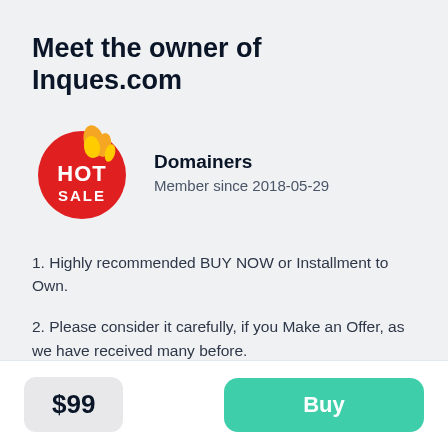Meet the owner of Inques.com
[Figure (logo): HOT SALE badge logo — red circular badge with flame graphic and 'HOT SALE' text in white]
Domainers
Member since 2018-05-29
1. Highly recommended BUY NOW or Installment to Own.
2. Please consider it carefully, if you Make an Offer, as we have received many before.
$99
Buy